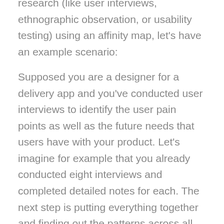To fully understand how to synthesize qualitative research (like user interviews, ethnographic observation, or usability testing) using an affinity map, let's have an example scenario:
Supposed you are a designer for a delivery app and you've conducted user interviews to identify the user pain points as well as the future needs that users have with your product. Let's imagine for example that you already conducted eight interviews and completed detailed notes for each. The next step is putting everything together and finding out the patterns across all your user interviews.
Step 1: Write all the data points on sticky